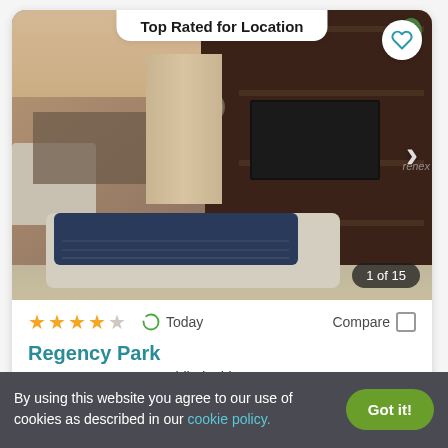Top Rated for Location
[Figure (photo): Interior photo of a living room with dark wood shelving unit with TV, dining area in background, blue folded blanket on ottoman in foreground. Navigation arrow on right side. Badge shows '1 of 15'.]
★★★★☆  Today  Compare
Regency Park
800 Cottman Avenue, Philadephia, PA 19111
By using this website you agree to our use of cookies as described in our cookie policy.